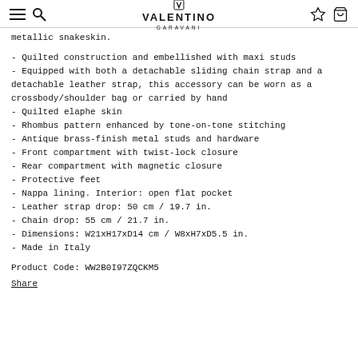Valentino Garavani logo with navigation icons
metallic snakeskin.
- Quilted construction and embellished with maxi studs
- Equipped with both a detachable sliding chain strap and a detachable leather strap, this accessory can be worn as a crossbody/shoulder bag or carried by hand
- Quilted elaphe skin
- Rhombus pattern enhanced by tone-on-tone stitching
- Antique brass-finish metal studs and hardware
- Front compartment with twist-lock closure
- Rear compartment with magnetic closure
- Protective feet
- Nappa lining. Interior: open flat pocket
- Leather strap drop: 50 cm / 19.7 in.
- Chain drop: 55 cm / 21.7 in.
- Dimensions: W21xH17xD14 cm / W8xH7xD5.5 in.
- Made in Italy
Product Code: WW2B0I97ZQCKM5
Share